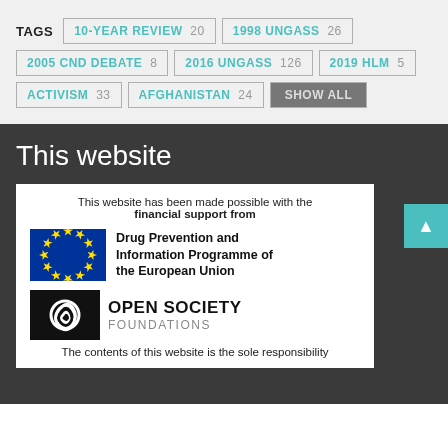TAGS  10-YEAR REVIEW 20  1998 UNGASS 26  2005 CND DEBATE 8  2016 UNGASS 126  2019 HLM 5  ACTIVISM 33  AFGHANISTAN 24  SHOW ALL
This website
[Figure (infographic): Sponsor box with EU flag and Drug Prevention and Information Programme of the European Union text, Open Society Foundations logo, and note about website responsibility]
This website has been made possible with the financial support from Drug Prevention and Information Programme of the European Union. Open Society Foundations. The contents of this website is the sole responsibility